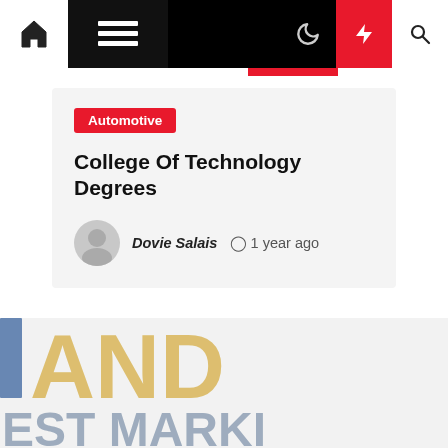Navigation bar with home, menu, dark mode, bolt, and search icons
Automotive
College Of Technology Degrees
Dovie Salais  1 year ago
[Figure (photo): Blurred image showing large gold letters 'AND' and below 'EST MARK' on white/light background, with a blue vertical bar on the left side]